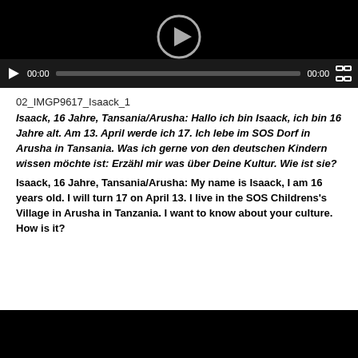[Figure (screenshot): Video player showing black background with play button circle at top and controls bar with play button, time labels (00:00), progress bar, and fullscreen button]
02_IMGP9617_Isaack_1
Isaack, 16 Jahre, Tansania/Arusha: Hallo ich bin Isaack, ich bin 16 Jahre alt. Am 13. April werde ich 17. Ich lebe im SOS Dorf in Arusha in Tansania. Was ich gerne von den deutschen Kindern wissen möchte ist: Erzähl mir was über Deine Kultur. Wie ist sie?
Isaack, 16 Jahre, Tansania/Arusha: My name is Isaack, I am 16 years old. I will turn 17 on April 13. I live in the SOS Childrens's Village in Arusha in Tanzania. I want to know about your culture. How is it?
[Figure (screenshot): Black video player area at the bottom of the page]